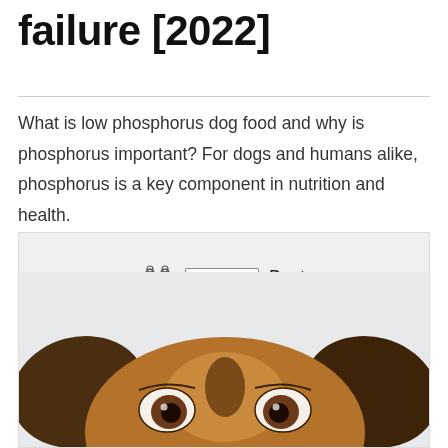failure [2022]
What is low phosphorus dog food and why is phosphorus important? For dogs and humans alike, phosphorus is a key component in nutrition and health.
[Figure (illustration): Promotional image with All Pet's Life logo badge and paw icons, text reading 'Best Low-Phosphorus Dog Food for Renal Failure [REVIEWS]', and a close-up photo of a dog's face (top of head and eyes) peeking up from the bottom of the frame against a light grey background.]